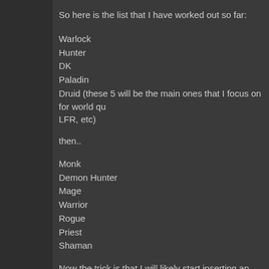So here is the list that I have worked out so far:
Warlock
Hunter
DK
Paladin
Druid (these 5 will be the main ones that I focus on for world qu LFR, etc)
then..
Monk
Demon Hunter
Mage
Warrior
Rogue
Priest
Shaman
Now the trick is that I will likely start inserting an alliance chara the initial 5 are done, but those will most likely follow the same o
Those initial five also give me every profession except engineer actually works okay.